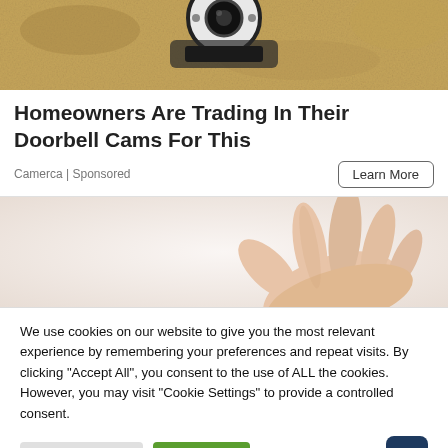[Figure (photo): Top portion of a doorbell camera mounted on a sandy/stone wall surface]
Homeowners Are Trading In Their Doorbell Cams For This
Camerca | Sponsored
[Figure (photo): A hand reaching or gesturing against a white/light background]
We use cookies on our website to give you the most relevant experience by remembering your preferences and repeat visits. By clicking "Accept All", you consent to the use of ALL the cookies. However, you may visit "Cookie Settings" to provide a controlled consent.